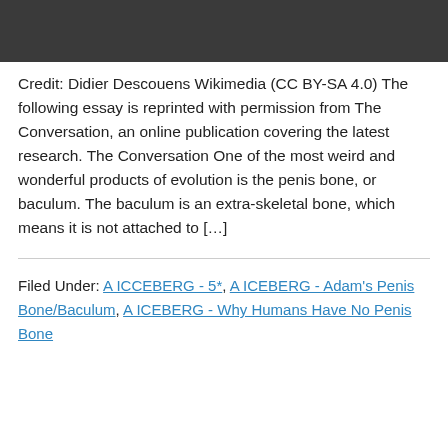[Figure (photo): Dark gray/black image banner at the top of the page]
Credit: Didier Descouens Wikimedia (CC BY-SA 4.0) The following essay is reprinted with permission from The Conversation, an online publication covering the latest research. The Conversation One of the most weird and wonderful products of evolution is the penis bone, or baculum. The baculum is an extra-skeletal bone, which means it is not attached to […]
Filed Under: A ICCEBERG - 5*, A ICEBERG - Adam's Penis Bone/Baculum, A ICEBERG - Why Humans Have No Penis Bone